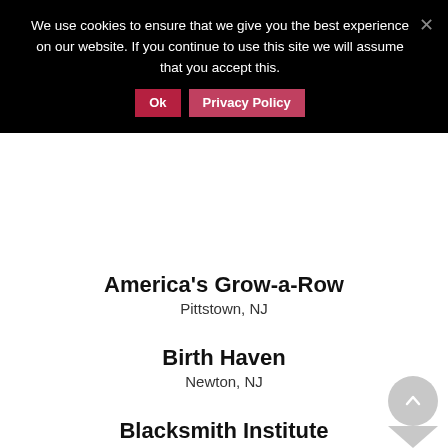We use cookies to ensure that we give you the best experience on our website. If you continue to use this site we will assume that you accept this.
Ok   Privacy Policy
America's Grow-a-Row
Pittstown, NJ
Birth Haven
Newton, NJ
Blacksmith Institute
New York, NY
Bonnie Brae
Liberty Corner, NJ